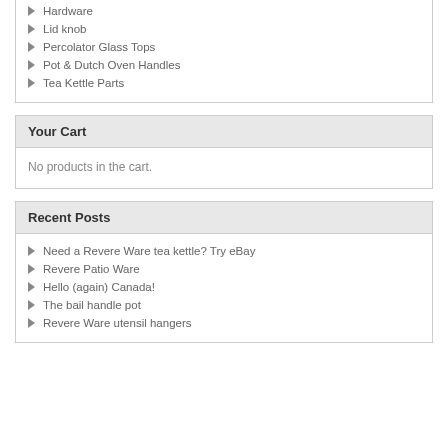Hardware
Lid knob
Percolator Glass Tops
Pot & Dutch Oven Handles
Tea Kettle Parts
Your Cart
No products in the cart.
Recent Posts
Need a Revere Ware tea kettle? Try eBay
Revere Patio Ware
Hello (again) Canada!
The bail handle pot
Revere Ware utensil hangers